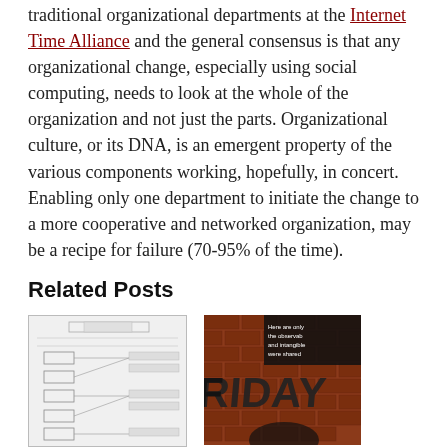traditional organizational departments at the Internet Time Alliance and the general consensus is that any organizational change, especially using social computing, needs to look at the whole of the organization and not just the parts. Organizational culture, or its DNA, is an emergent property of the various components working, hopefully, in concert. Enabling only one department to initiate the change to a more cooperative and networked organization, may be a recipe for failure (70-95% of the time).
Related Posts
[Figure (other): Thumbnail image of a diagram/simulation chart with boxes and flow lines on a white background]
[Figure (photo): Thumbnail image of a brick wall with the word FRIDAY and a dark silhouette, with white text overlay about observables and intangibles shared via social media]
we need simulation!
New values colliding with the old